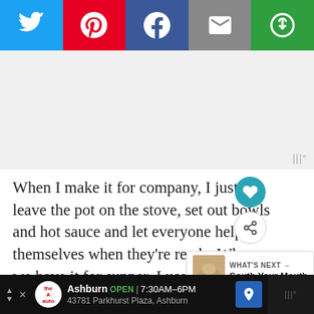[Figure (infographic): Social sharing bar with five buttons: Twitter (blue bird icon), Pinterest (red P icon), Facebook (blue f icon), Email (grey envelope icon), and a green share/link icon]
[Figure (other): Advertisement placeholder area (light grey background) with a weather widget watermark ('W°') at bottom right]
When I make it for company, I just leave the pot on the stove, set out bowls and hot sauce and let everyone help themselves when they're ready. When we have it for supper, I use plates and typically serve a Southern pea like black eyed crowders or field peas and some fresh s... garden tomatoes.
[Figure (infographic): "WHAT'S NEXT →" overlay with thumbnail image and text 'South Your Mouth']
[Figure (infographic): Bottom advertisement bar: 'Ashburn OPEN 7:30AM–6PM  43781 Parkhurst Plaza, Ashburn' with auto logo and navigation arrow, plus weather widget on the right]